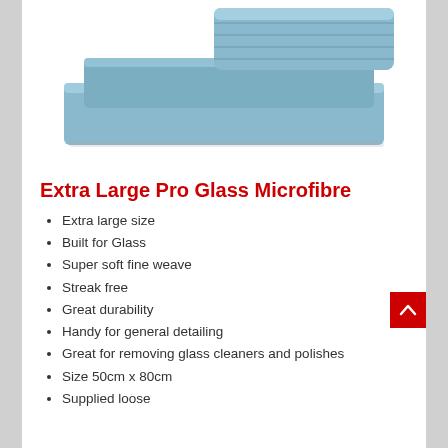[Figure (photo): Blue microfibre cloths folded and stacked on a white background]
Extra Large Pro Glass Microfibre
Extra large size
Built for Glass
Super soft fine weave
Streak free
Great durability
Handy for general detailing
Great for removing glass cleaners and polishes
Size 50cm x 80cm
Supplied loose